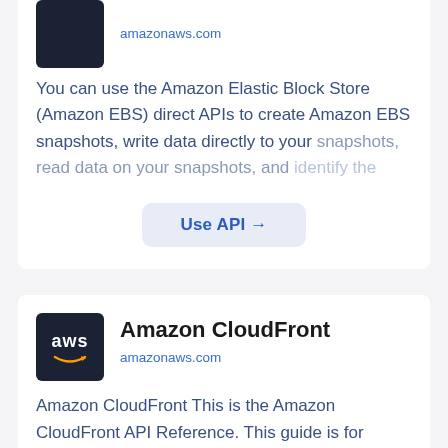You can use the Amazon Elastic Block Store (Amazon EBS) direct APIs to create Amazon EBS snapshots, write data directly to your snapshots, read data on your snapshots, and identify the differences or changes between two snapshots.
Use API →
[Figure (logo): AWS logo — dark navy background with 'aws' text and orange smile arrow]
Amazon CloudFront
amazonaws.com
Amazon CloudFront This is the Amazon CloudFront API Reference. This guide is for developers who need detailed information